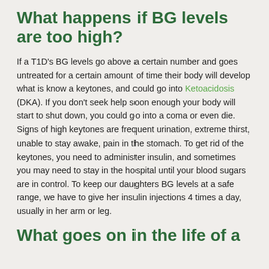What happens if BG levels are too high?
If a T1D's BG levels go above a certain number and goes untreated for a certain amount of time their body will develop what is know a keytones, and could go into Ketoacidosis (DKA). If you don't seek help soon enough your body will start to shut down, you could go into a coma or even die. Signs of high keytones are frequent urination, extreme thirst, unable to stay awake, pain in the stomach. To get rid of the keytones, you need to administer insulin, and sometimes you may need to stay in the hospital until your blood sugars are in control. To keep our daughters BG levels at a safe range, we have to give her insulin injections 4 times a day, usually in her arm or leg.
What goes on in the life of a